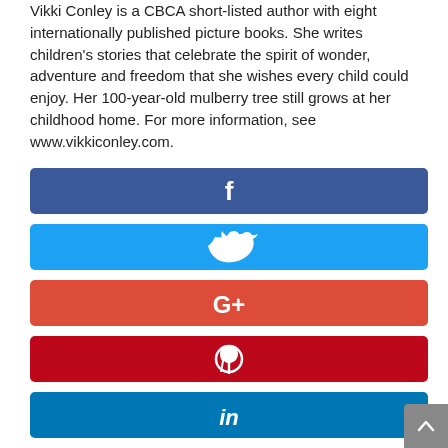Vikki Conley is a CBCA short-listed author with eight internationally published picture books. She writes children's stories that celebrate the spirit of wonder, adventure and freedom that she wishes every child could enjoy. Her 100-year-old mulberry tree still grows at her childhood home. For more information, see www.vikkiconley.com.
[Figure (infographic): Social media share buttons: Facebook (dark blue), Twitter (light blue), Google+ (red-orange), Pinterest (dark red), LinkedIn (blue)]